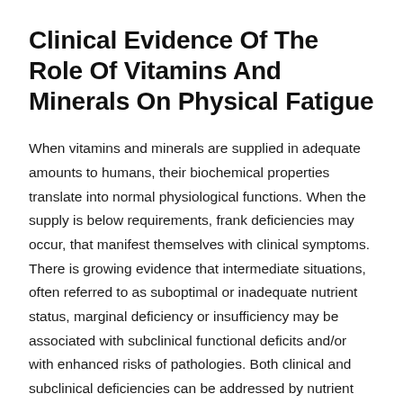Clinical Evidence Of The Role Of Vitamins And Minerals On Physical Fatigue
When vitamins and minerals are supplied in adequate amounts to humans, their biochemical properties translate into normal physiological functions. When the supply is below requirements, frank deficiencies may occur, that manifest themselves with clinical symptoms. There is growing evidence that intermediate situations, often referred to as suboptimal or inadequate nutrient status, marginal deficiency or insufficiency may be associated with subclinical functional deficits and/or with enhanced risks of pathologies. Both clinical and subclinical deficiencies can be addressed by nutrient supplementation .